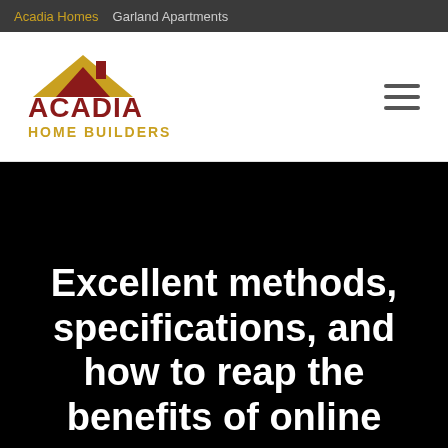Acadia Homes | Garland Apartments
[Figure (logo): Acadia Home Builders logo — house roofline icon in gold and dark red with text ACADIA HOME BUILDERS in dark red and gold]
Excellent methods, specifications, and how to reap the benefits of online